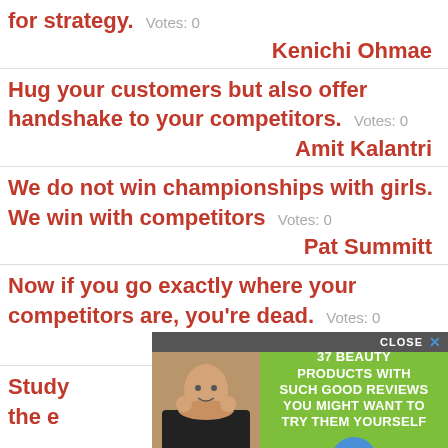for strategy.  Votes: 0
Kenichi Ohmae
Hug your customers but also offer handshake to your competitors.  Votes: 0
Amit Kalantri
We do not win championships with girls. We win with competitors  Votes: 0
Pat Summitt
Now if you go exactly where your competitors are, you're dead.  Votes: 0
Heins
Study ... d do the e...
[Figure (screenshot): Advertisement overlay: green background with text '37 BEAUTY PRODUCTS WITH SUCH GOOD REVIEWS YOU MIGHT WANT TO TRY THEM YOURSELF' and a circular blue badge reading '22 WORDS', with a photo of a woman on the left. Close button at top.]